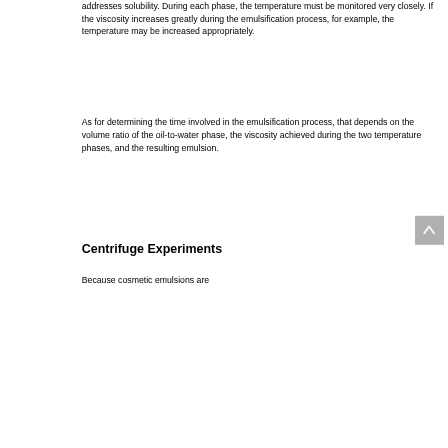addresses solubility. During each phase, the temperature must be monitored very closely. If the viscosity increases greatly during the emulsification process, for example, the temperature may be increased appropriately.
As for determining the time involved in the emulsification process, that depends on the volume ratio of the oil-to-water phase, the viscosity achieved during the two temperature phases, and the resulting emulsion.
Centrifuge Experiments
Because cosmetic emulsions are